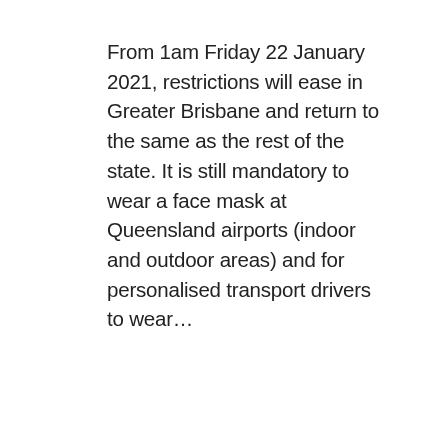From 1am Friday 22 January 2021, restrictions will ease in Greater Brisbane and return to the same as the rest of the state. It is still mandatory to wear a face mask at Queensland airports (indoor and outdoor areas) and for personalised transport drivers to wear…
READ MORE